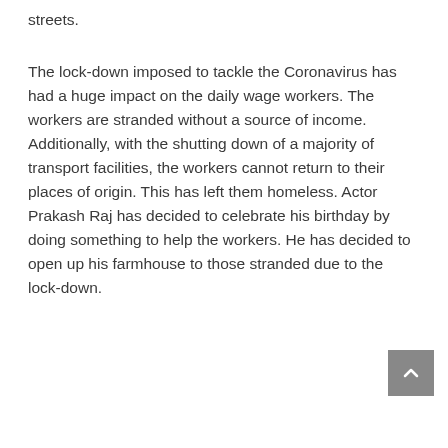streets.

The lock-down imposed to tackle the Coronavirus has had a huge impact on the daily wage workers. The workers are stranded without a source of income. Additionally, with the shutting down of a majority of transport facilities, the workers cannot return to their places of origin. This has left them homeless. Actor Prakash Raj has decided to celebrate his birthday by doing something to help the workers. He has decided to open up his farmhouse to those stranded due to the lock-down.